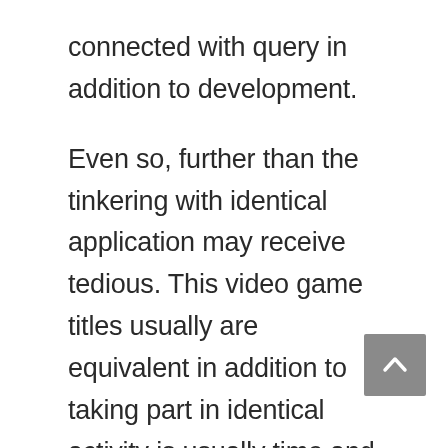connected with query in addition to development. Even so, further than the tinkering with identical application may receive tedious. This video game titles usually are equivalent in addition to taking part in identical activity is usually time and again possibly on unique on the net casinos removes on the enthusiasm. There are various well-known game playing application services with his or her number of video game titles in addition to his or her benefits. As a way to delight in on the net game playing towards saying it is necessary to use on the net societal place centric by means of unique application services. Minuscule game playing affords the Silver Combination of dining